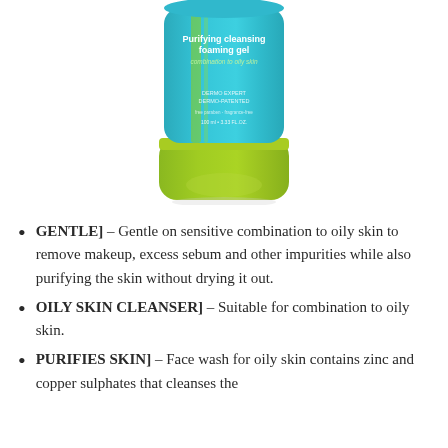[Figure (photo): A tube of purifying cleansing foaming gel product with a teal/cyan upper body and lime green cap/base. Text on bottle reads 'Purifying cleansing foaming gel', '100 ml / 3.33 FL.OZ.' The tube is standing upright on its green cap.]
GENTLE] – Gentle on sensitive combination to oily skin to remove makeup, excess sebum and other impurities while also purifying the skin without drying it out.
OILY SKIN CLEANSER] – Suitable for combination to oily skin.
PURIFIES SKIN] – Face wash for oily skin contains zinc and copper sulphates that cleanses the